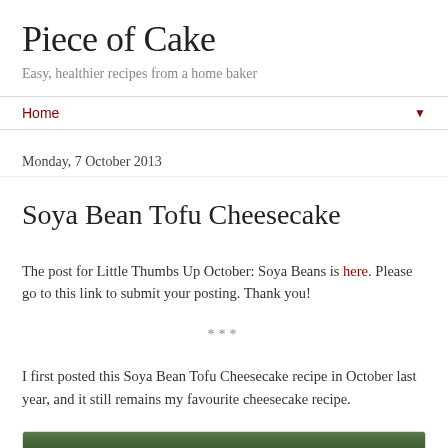Piece of Cake
Easy, healthier recipes from a home baker
Home ▼
Monday, 7 October 2013
Soya Bean Tofu Cheesecake
The post for Little Thumbs Up October: Soya Beans is here. Please go to this link to submit your posting. Thank you!
***
I first posted this Soya Bean Tofu Cheesecake recipe in October last year, and it still remains my favourite cheesecake recipe.
[Figure (photo): Photo of soya beans or cheesecake, partially visible at bottom of page]